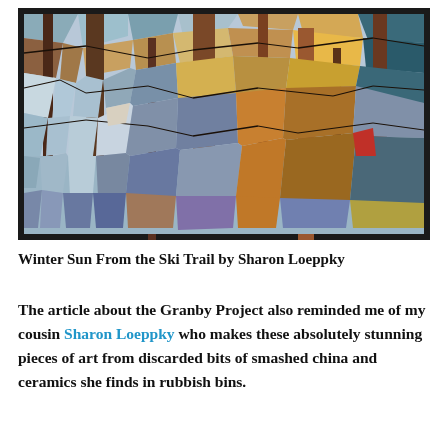[Figure (photo): Framed mosaic artwork showing a winter forest scene with bare tree trunks and branches against a background of colorful fragmented pieces of china/ceramics in blues, browns, oranges, and purples, resembling a snowy woodland scene.]
Winter Sun From the Ski Trail by Sharon Loeppky
The article about the Granby Project also reminded me of my cousin Sharon Loeppky who makes these absolutely stunning pieces of art from discarded bits of smashed china and ceramics she finds in rubbish bins.